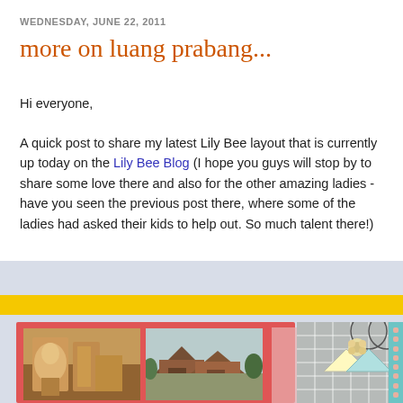WEDNESDAY, JUNE 22, 2011
more on luang prabang...
Hi everyone,
A quick post to share my latest Lily Bee layout that is currently up today on the Lily Bee Blog (I hope you guys will stop by to share some love there and also for the other amazing ladies - have you seen the previous post there, where some of the ladies had asked their kids to help out. So much talent there!)
[Figure (photo): Scrapbook layout with two photographs of Luang Prabang — one showing temple interior with Buddhist statues, another showing traditional temple buildings — mounted on a red patterned background with teal and plaid decorative elements and paper bunting.]